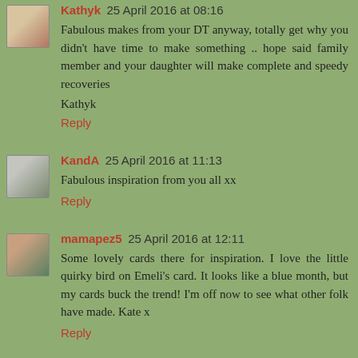Kathyk 25 April 2016 at 08:16
Fabulous makes from your DT anyway, totally get why you didn't have time to make something .. hope said family member and your daughter will make complete and speedy recoveries
Kathyk
Reply
KandA 25 April 2016 at 11:13
Fabulous inspiration from you all xx
Reply
mamapez5 25 April 2016 at 12:11
Some lovely cards there for inspiration. I love the little quirky bird on Emeli's card. It looks like a blue month, but my cards buck the trend! I'm off now to see what other folk have made. Kate x
Reply